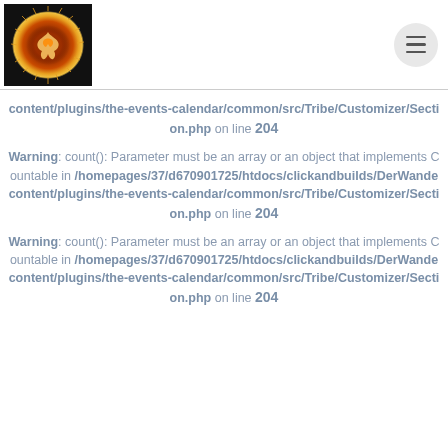[logo image] [menu button]
content/plugins/the-events-calendar/common/src/Tribe/Customizer/Section.php on line 204
Warning: count(): Parameter must be an array or an object that implements Countable in /homepages/37/d670901725/htdocs/clickandbuilds/DerWande content/plugins/the-events-calendar/common/src/Tribe/Customizer/Section.php on line 204
Warning: count(): Parameter must be an array or an object that implements Countable in /homepages/37/d670901725/htdocs/clickandbuilds/DerWande content/plugins/the-events-calendar/common/src/Tribe/Customizer/Section.php on line 204